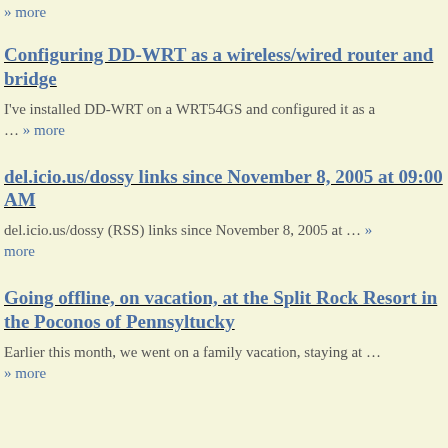» more
Configuring DD-WRT as a wireless/wired router and bridge
I've installed DD-WRT on a WRT54GS and configured it as a … » more
del.icio.us/dossy links since November 8, 2005 at 09:00 AM
del.icio.us/dossy (RSS) links since November 8, 2005 at … » more
Going offline, on vacation, at the Split Rock Resort in the Poconos of Pennsyltucky
Earlier this month, we went on a family vacation, staying at … » more